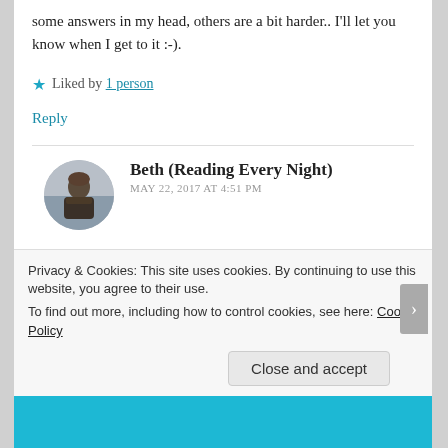some answers in my head, others are a bit harder.. I'll let you know when I get to it :-).
Liked by 1 person
Reply
Beth (Reading Every Night)
MAY 22, 2017 AT 4:51 PM
Thanks Inge, I'm glad you enjoyed this post.
Privacy & Cookies: This site uses cookies. By continuing to use this website, you agree to their use.
To find out more, including how to control cookies, see here: Cookie Policy
Close and accept